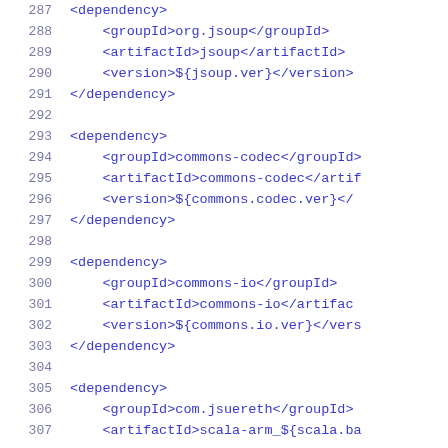287   <dependency>
288     <groupId>org.jsoup</groupId>
289     <artifactId>jsoup</artifactId>
290     <version>${jsoup.ver}</version>
291   </dependency>
292
293   <dependency>
294     <groupId>commons-codec</groupId>
295     <artifactId>commons-codec</artifactId>
296     <version>${commons.codec.ver}</version>
297   </dependency>
298
299   <dependency>
300     <groupId>commons-io</groupId>
301     <artifactId>commons-io</artifactId>
302     <version>${commons.io.ver}</version>
303   </dependency>
304
305   <dependency>
306     <groupId>com.jsuereth</groupId>
307     <artifactId>scala-arm_${scala.ba...</artifactId>